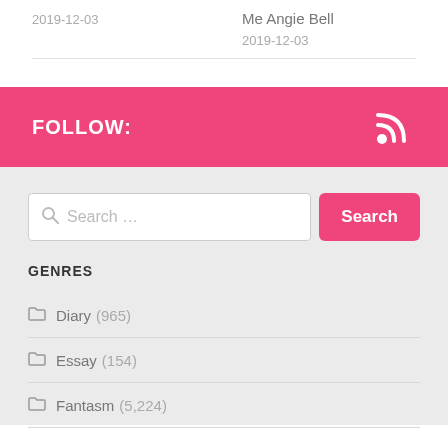Me Angie Bell
2019-12-03
2019-12-03
FOLLOW:
[Figure (other): RSS feed icon (white, on pink background)]
Search ...
GENRES
Diary (965)
Essay (154)
Fantasm (5,224)